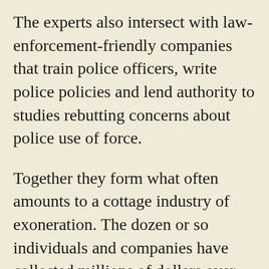The experts also intersect with law-enforcement-friendly companies that train police officers, write police policies and lend authority to studies rebutting concerns about police use of force.
Together they form what often amounts to a cottage industry of exoneration. The dozen or so individuals and companies have collected millions of dollars over the past decade, much of it in fees that are largely underwritten by taxpayers, who cover the costs of police training and policies and the legal bills of…